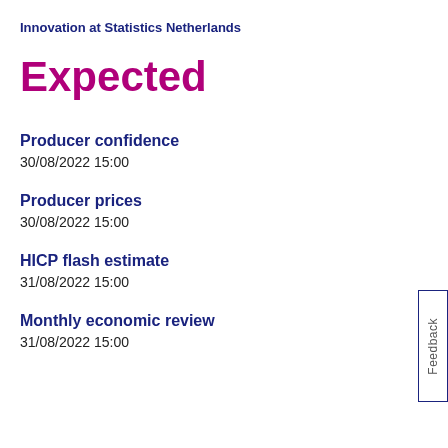Innovation at Statistics Netherlands
Expected
Producer confidence
30/08/2022 15:00
Producer prices
30/08/2022 15:00
HICP flash estimate
31/08/2022 15:00
Monthly economic review
31/08/2022 15:00